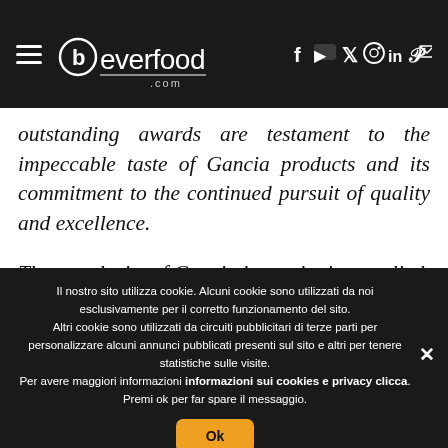beverfood.com
outstanding awards are testament to the impeccable taste of Gancia products and its commitment to the continued pursuit of quality and excellence.

The popularity of Gancia is continuing to climb all around the world. In 3 years, the production of Gancia
Il nostro sito utilizza cookie. Alcuni cookie sono utilizzati da noi esclusivamente per il corretto funzionamento del sito.
Altri cookie sono utilizzati da circuiti pubblicitari di terze parti per personalizzare alcuni annunci pubblicati presenti sul sito e altri per tenere statistiche sulle visite.
Per avere maggiori informazioni sui cookies e privacy clicca.
Premi ok per far spare il messaggio.
Ok